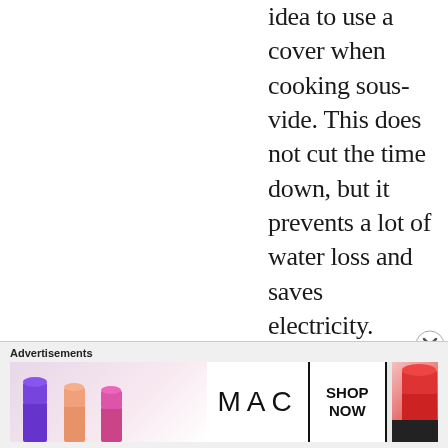idea to use a cover when cooking sous-vide. This does not cut the time down, but it prevents a lot of water loss and saves electricity. Especially for longer cooks the water loss can be a nuisance. Hope this helps and let me know
Advertisements
[Figure (photo): MAC cosmetics advertisement banner showing colourful lipsticks on the left, MAC logo in the centre, a SHOP NOW box with border, and a red lipstick on the right]